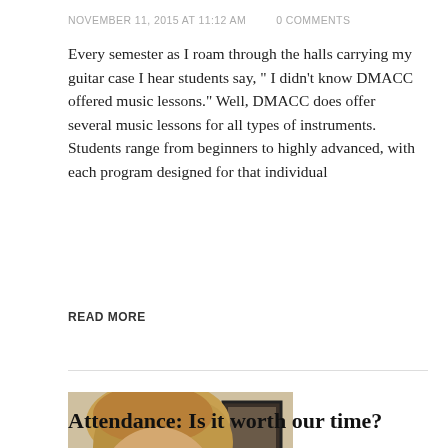NOVEMBER 11, 2015 AT 11:12 AM   0 COMMENTS
Every semester as I roam through the halls carrying my guitar case I hear students say, “ I didn’t know DMACC offered music lessons.” Well, DMACC does offer several music lessons for all types of instruments. Students range from beginners to highly advanced, with each program designed for that individual
READ MORE
[Figure (photo): Photo of a smiling young student with short blonde hair in a room with computer monitors and framed pictures on the wall in the background]
Attendance: Is it worth our time?